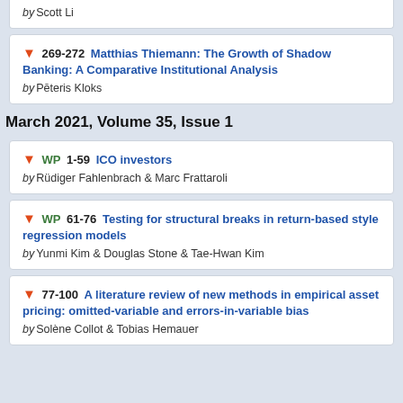by Scott Li
269-272 Matthias Thiemann: The Growth of Shadow Banking: A Comparative Institutional Analysis by Pēteris Kloks
March 2021, Volume 35, Issue 1
WP 1-59 ICO investors by Rüdiger Fahlenbrach & Marc Frattaroli
WP 61-76 Testing for structural breaks in return-based style regression models by Yunmi Kim & Douglas Stone & Tae-Hwan Kim
77-100 A literature review of new methods in empirical asset pricing: omitted-variable and errors-in-variable bias by Solène Collot & Tobias Hemauer